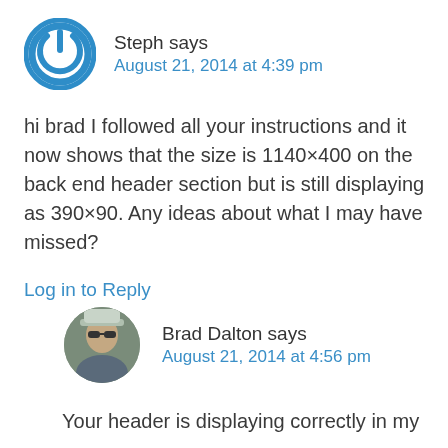[Figure (logo): Blue circular power button icon used as avatar for user Steph]
Steph says
August 21, 2014 at 4:39 pm
hi brad I followed all your instructions and it now shows that the size is 1140×400 on the back end header section but is still displaying as 390×90. Any ideas about what I may have missed?
Log in to Reply
[Figure (photo): Circular photo avatar of Brad Dalton wearing a cap and sunglasses]
Brad Dalton says
August 21, 2014 at 4:56 pm
Your header is displaying correctly in my